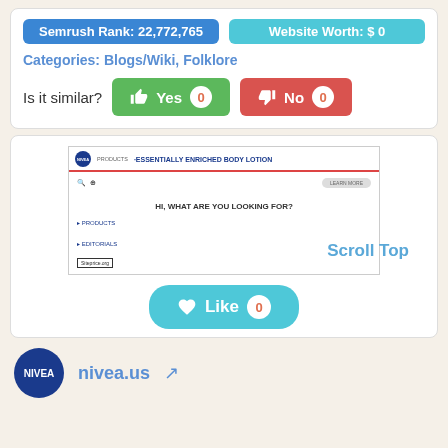Semrush Rank: 22,772,765
Website Worth: $ 0
Categories: Blogs/Wiki, Folklore
Is it similar? Yes 0  No 0
[Figure (screenshot): Screenshot of nivea.us website showing NIVEA logo, navigation with PRODUCTS, header text 'ESSENTIALLY ENRICHED BODY LOTION', search icons, LEARN MORE button, and text 'HI, WHAT ARE YOU LOOKING FOR?' with links to PRODUCTS and EDITORIALS. Siteprice.org watermark visible.]
Scroll Top
Like 0
nivea.us